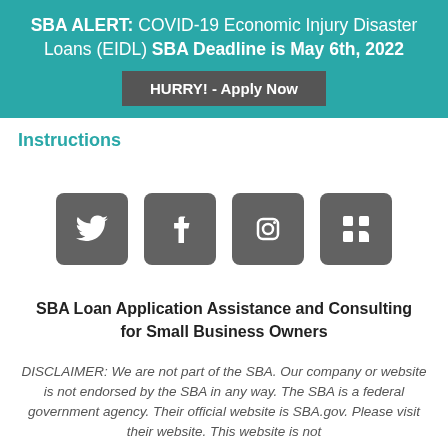SBA ALERT: COVID-19 Economic Injury Disaster Loans (EIDL) SBA Deadline is May 6th, 2022
HURRY! - Apply Now
Instructions
[Figure (infographic): Four social media icon buttons in dark gray rounded-square boxes: Twitter, Facebook, Instagram, LinkedIn]
SBA Loan Application Assistance and Consulting for Small Business Owners
DISCLAIMER: We are not part of the SBA. Our company or website is not endorsed by the SBA in any way. The SBA is a federal government agency. Their official website is SBA.gov. Please visit their website. This website is not...